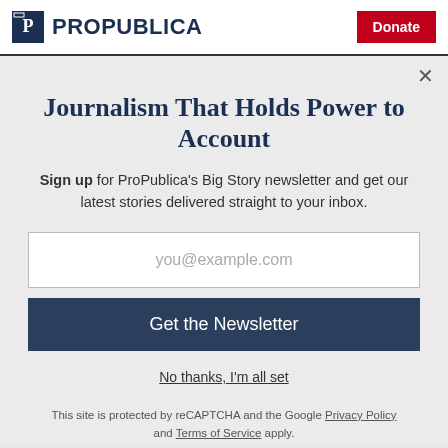ProPublica | Donate
agencies? We're looking for those in the know to tell us what kinds of public records we should be asking for. Help us find the records that will shed light on the crisis and hold those in power to account.
Journalism That Holds Power to Account
Sign up for ProPublica's Big Story newsletter and get our latest stories delivered straight to your inbox.
you@example.com
Get the Newsletter
No thanks, I'm all set
This site is protected by reCAPTCHA and the Google Privacy Policy and Terms of Service apply.